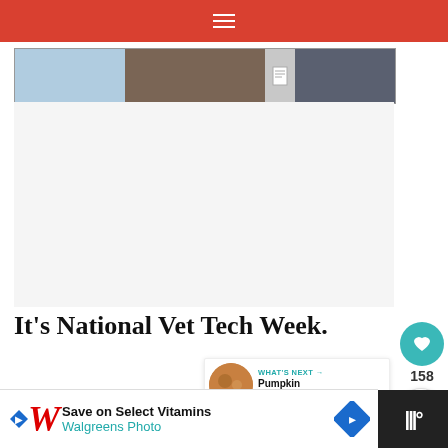≡
[Figure (photo): Thumbnail strip showing multiple images related to the article]
[Figure (photo): Large white/blank article image area]
It's National Vet Tech Week.
I know, I know. There seems to be a
[Figure (infographic): WHAT'S NEXT arrow with thumbnail image and text: Pumpkin White...]
[Figure (infographic): Advertisement: Save on Select Vitamins Walgreens Photo]
158